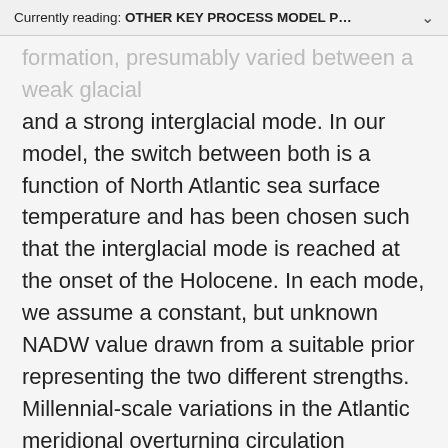Currently reading: OTHER KEY PROCESS MODEL P...
formation, presumably varied between a weak glacial and a strong interglacial mode. In our model, the switch between both is a function of North Atlantic sea surface temperature and has been chosen such that the interglacial mode is reached at the onset of the Holocene. In each mode, we assume a constant, but unknown NADW value drawn from a suitable prior representing the two different strengths. Millennial-scale variations in the Atlantic meridional overturning circulation connected with the bipolar seesaw (e.g. Barker et al. 2009) have been neglected for this update although are a topic identified for future work (see Section 7):
[Figure (other): Loading spinner icon]
where: